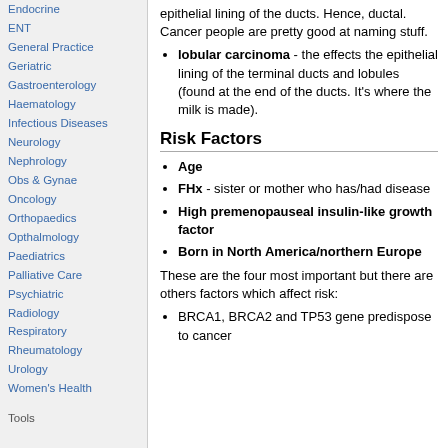Endocrine
ENT
General Practice
Geriatric
Gastroenterology
Haematology
Infectious Diseases
Neurology
Nephrology
Obs & Gynae
Oncology
Orthopaedics
Opthalmology
Paediatrics
Palliative Care
Psychiatric
Radiology
Respiratory
Rheumatology
Urology
Women's Health
Tools
epithelial lining of the ducts. Hence, ductal. Cancer people are pretty good at naming stuff.
lobular carcinoma - the effects the epithelial lining of the terminal ducts and lobules (found at the end of the ducts. It's where the milk is made).
Risk Factors
Age
FHx - sister or mother who has/had disease
High premenopauseal insulin-like growth factor
Born in North America/northern Europe
These are the four most important but there are others factors which affect risk:
BRCA1, BRCA2 and TP53 gene predispose to cancer